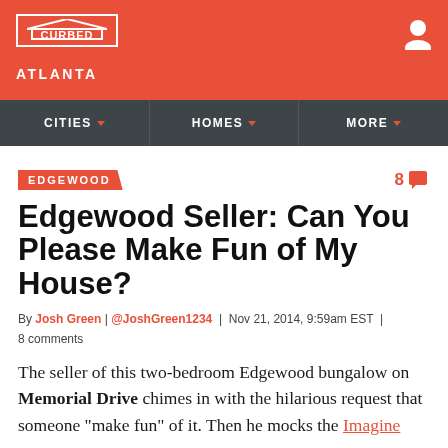CURBED ATLANTA
CITIES | HOMES | MORE
EDGEWOOD
Edgewood Seller: Can You Please Make Fun of My House?
By Josh Green | @JoshGreen1234 | Nov 21, 2014, 9:59am EST | 8 comments
The seller of this two-bedroom Edgewood bungalow on Memorial Drive chimes in with the hilarious request that someone "make fun" of it. Then he mocks the Imagine